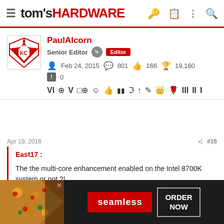tom's HARDWARE
PaulAlcorn
Senior Editor  Editor
Feb 24, 2015  801  166  19,160
0
Apr 19, 2018  #16
East17 :

The the multi-core enhancement enabled on the Intel 8700K system or not ?!

Because we see AMD's 2700X never goes beyond 105 W total
[Figure (screenshot): Seamless food delivery advertisement banner with pizza image, seamless logo button, and ORDER NOW button]